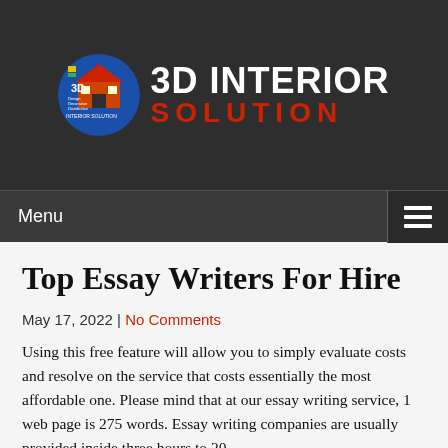[Figure (logo): 3D Interior Solution logo with circular emblem and text]
Menu
Top Essay Writers For Hire
May 17, 2022 | No Comments
Using this free feature will allow you to simply evaluate costs and resolve on the service that costs essentially the most affordable one. Please mind that at our essay writing service, 1 web page is 275 words. Essay writing companies are usually provided inside three hours to 20